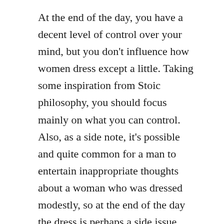At the end of the day, you have a decent level of control over your mind, but you don't influence how women dress except a little. Taking some inspiration from Stoic philosophy, you should focus mainly on what you can control. Also, as a side note, it's possible and quite common for a man to entertain inappropriate thoughts about a woman who was dressed modestly, so at the end of the day the dress is perhaps a side issue.
Another bad way to try to fix this issue is to think marriage will magically solve all your problems. Nothing could be further than the truth. Like I said above, not fixing this problem will have negative consequences on your marriage. Your first few weeks or months might be fine but everyone reverts to their normal habits eventually. Don't think you're any